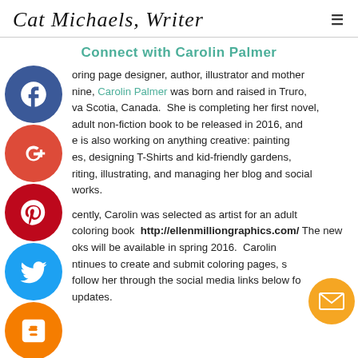Cat Michaels, Writer
Connect with Carolin Palmer
[Figure (illustration): Social media icon circles: Facebook (blue), Google+ (red), Pinterest (red), Twitter (blue), Blogger (orange), More/dots (grey), and an email envelope button (orange) — displayed along the left side of the page]
oring page designer, author, illustrator and mother nine, Carolin Palmer was born and raised in Truro, va Scotia, Canada. She is completing her first novel, adult non-fiction book to be released in 2016, and e is also working on anything creative: painting es, designing T-Shirts and kid-friendly gardens, riting, illustrating, and managing her blog and social works.
cently, Carolin was selected as artist for an adult coloring book http://ellenmilliongraphics.com/ The new oks will be available in spring 2016. Carolin ntinues to create and submit coloring pages, s follow her through the social media links below fo updates.